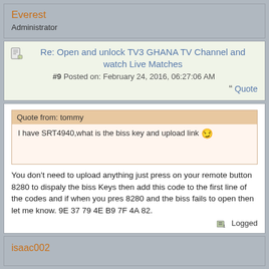Everest
Administrator
Re: Open and unlock TV3 GHANA TV Channel and watch Live Matches
#9 Posted on: February 24, 2016, 06:27:06 AM
Quote
Quote from: tommy
I have SRT4940,what is the biss key and upload link
You don't need to upload anything just press on your remote button 8280 to dispaly the biss Keys then add this code to the first line of the codes and if when you pres 8280 and the biss fails to open then let me know. 9E 37 79 4E B9 7F 4A 82.
Logged
isaac002